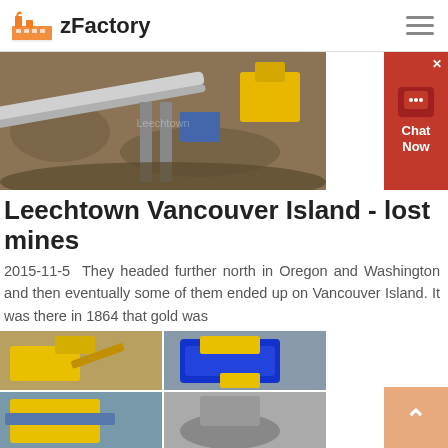zFactory
[Figure (photo): Mining equipment and conveyor belts at a rock quarry or mine site]
Leechtown Vancouver Island - lost mines
2015-11-5  They headed further north in Oregon and Washington and then eventually some of them ended up on Vancouver Island. It was there in 1864 that gold was
[Figure (photo): Four smaller photos of yellow and blue mining/crushing machinery and equipment]